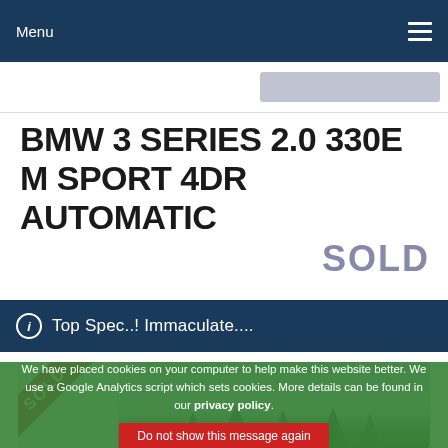Menu
BMW 3 SERIES 2.0 330E M SPORT 4DR AUTOMATIC
SOLD
ℹ Top Spec..! Immaculate....
[Figure (photo): Photo of a BMW 3 Series car with a red SOLD ribbon in the top-left corner, parked outdoors with trees visible in background. A green cookie consent overlay partially covers the bottom of the image.]
We have placed cookies on your computer to help make this website better. We use a Google Analytics script which sets cookies. More details can be found in our privacy policy.
Do not show this message again